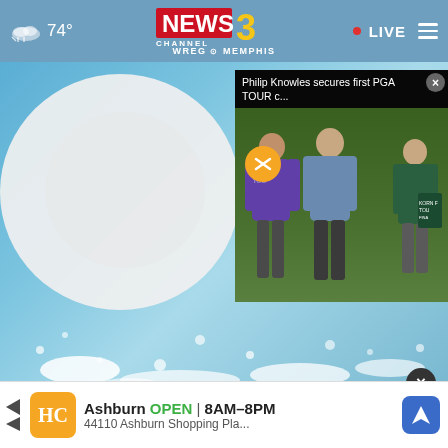74° NEWS CHANNEL 3 WREG MEMPHIS • LIVE
[Figure (screenshot): Mobile news website screenshot showing WREG News Channel 3 Memphis. Main background image shows a large white pill/tablet with white powder spilled on a blue surface. An overlay video popup in the top-right corner shows Philip Knowles at a golf event (Korn Ferry Tour Finals) with text 'Philip Knowles secures first PGA TOUR c...' and a mute button.]
A Teaspoon on an Empty Stomach Drops Body Weight Like Crazy!
Trending
[Figure (screenshot): Advertisement banner for HC Ashburn showing logo, OPEN 8AM-8PM, address 44110 Ashburn Shopping Pla... with a blue navigation arrow icon.]